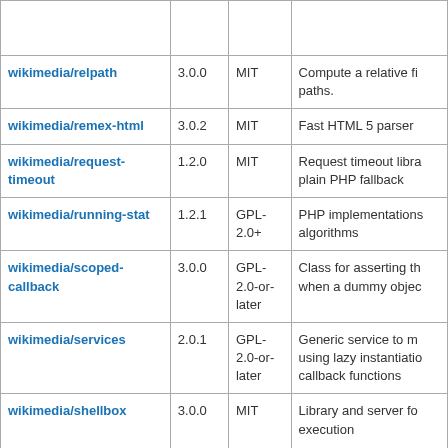| Package | Version | License | Description |
| --- | --- | --- | --- |
|  |  |  |  |
| wikimedia/relpath | 3.0.0 | MIT | Compute a relative fi paths. |
| wikimedia/remex-html | 3.0.2 | MIT | Fast HTML 5 parser |
| wikimedia/request-timeout | 1.2.0 | MIT | Request timeout libra plain PHP fallback |
| wikimedia/running-stat | 1.2.1 | GPL-2.0+ | PHP implementations algorithms |
| wikimedia/scoped-callback | 3.0.0 | GPL-2.0-or-later | Class for asserting th when a dummy objec |
| wikimedia/services | 2.0.1 | GPL-2.0-or-later | Generic service to m using lazy instantiatio callback functions |
| wikimedia/shellbox | 3.0.0 | MIT | Library and server fo execution |